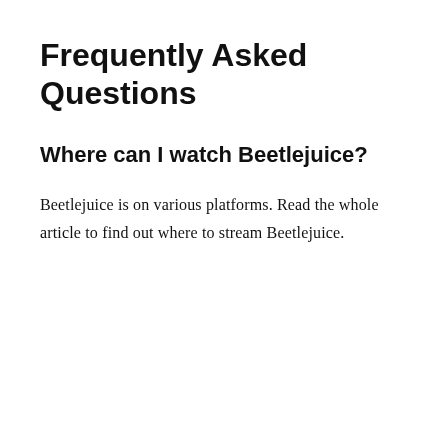Frequently Asked Questions
Where can I watch Beetlejuice?
Beetlejuice is on various platforms. Read the whole article to find out where to stream Beetlejuice.